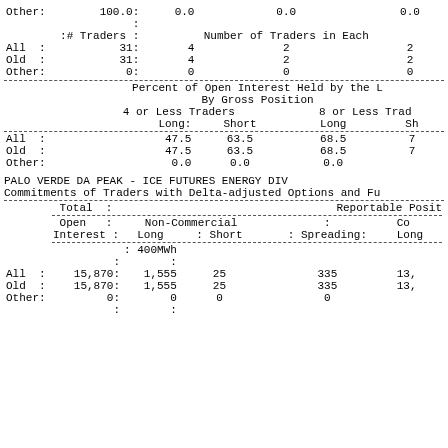|  | # Traders |  | Number of Traders in Each |  |
| --- | --- | --- | --- | --- |
| Other: | 100.0: | 0.0 | 0.0 | 0.0 |
|  | : | : |  |  |
|  | :# Traders : |  | Number of Traders in Each |  |
| All | 31: | 4 | 2 | 2 |
| Old | 31: | 4 | 2 | 2 |
| Other: | 0: | 0 | 0 | 0 |
|  | Percent of Open Interest Held by the | By Gross Position | 4 or Less Traders Long: | Short | 8 or Less Trad Long | Sh |
| --- | --- | --- | --- | --- | --- | --- |
| All |  | 47.5 | 63.5 | 68.5 | 7 |
| Old |  | 47.5 | 63.5 | 68.5 | 7 |
| Other: |  | 0.0 | 0.0 | 0.0 |  |
PALO VERDE DA PEAK - ICE FUTURES ENERGY DIV
Commitments of Traders with Delta-adjusted Options and Fu
|  | Total |  | Reportable Posit |
| --- | --- | --- | --- |
|  | Open |  | Non-Commercial | Co |
|  | Interest | Long | Short | Spreading: | Long |
|  |  | 400MWh |  |  |  |
| All | 15,870: | 1,555 | 25 | 335 | 13, |
| Old | 15,870: | 1,555 | 25 | 335 | 13, |
| Other: | 0: | 0 | 0 | 0 |  |